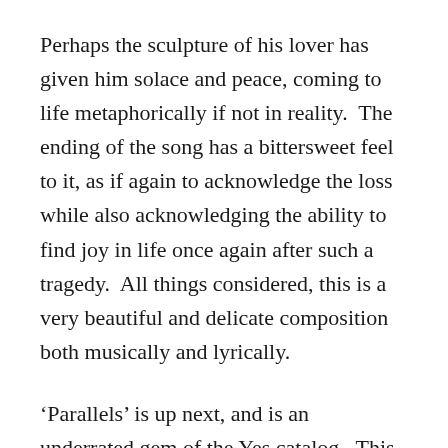Perhaps the sculpture of his lover has given him solace and peace, coming to life metaphorically if not in reality.  The ending of the song has a bittersweet feel to it, as if again to acknowledge the loss while also acknowledging the ability to find joy in life once again after such a tragedy.  All things considered, this is a very beautiful and delicate composition both musically and lyrically.
‘Parallels’ is up next, and is an underrated gem of the Yes catalog.  This song features spectacular performances by Howe, Wakeman, and Squire, who take turns in showing off their chops on their respective instruments.  Still, they never descend into self-indulgence or stray from the song’s logical progression.